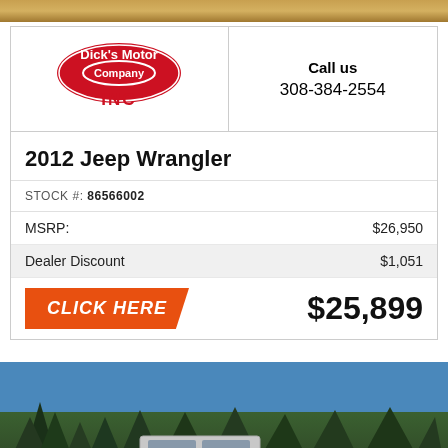[Figure (photo): Top image strip - partial dealership photo]
[Figure (logo): Dick's Motor Company INC logo - red oval with white text]
Call us
308-384-2554
2012 Jeep Wrangler
STOCK #: 86566002
| MSRP: | $26,950 |
| Dealer Discount | $1,051 |
CLICK HERE
$25,899
[Figure (photo): Photo of a silver Jeep Wrangler parked in front of evergreen trees with blue sky. Orange 'Top' button visible in bottom right corner.]